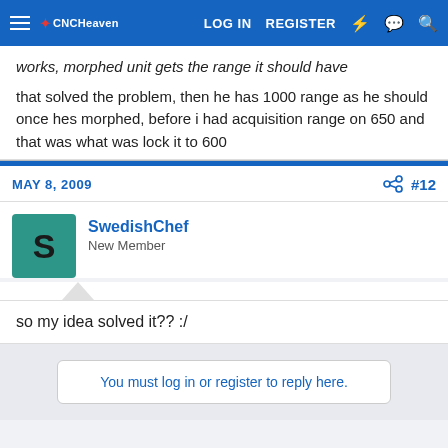LOG IN  REGISTER
works, morphed unit gets the range it should have
that solved the problem, then he has 1000 range as he should once hes morphed, before i had acquisition range on 650 and that was what was lock it to 600
MAY 8, 2009  #12
SwedishChef
New Member
so my idea solved it?? :/
You must log in or register to reply here.